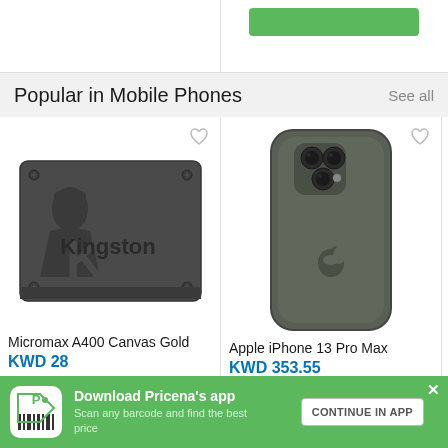[Figure (screenshot): Top strip with partial product cards and a green button]
Popular in Mobile Phones
See all
[Figure (photo): Kingston A400 SSD product image]
Micromax A400 Canvas Gold
KWD 28
[Figure (photo): Apple iPhone 13 Pro Max product image in graphite color]
Apple iPhone 13 Pro Max
KWD 353.55
compare 3 online shops...
Download Pricena's app
Scan any barcode and find the best price
CONTINUE IN APP